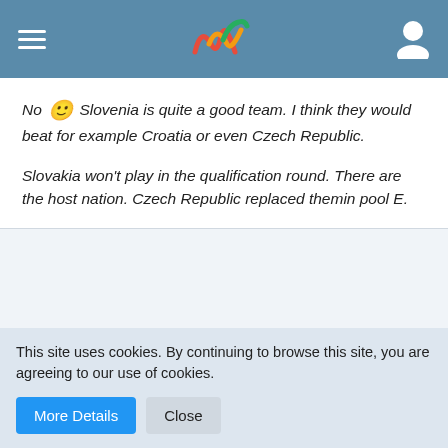[Figure (screenshot): Website top navigation bar with hamburger menu, colorful W logo, and user icon on blue-gray background]
No 🙂 Slovenia is quite a good team. I think they would beat for example Croatia or even Czech Republic.
Slovakia won't play in the qualification round. There are the host nation. Czech Republic replaced themin pool E.
thanks 🎧
Canter
Enlightened
Aug 15th 2018
This site uses cookies. By continuing to browse this site, you are agreeing to our use of cookies.